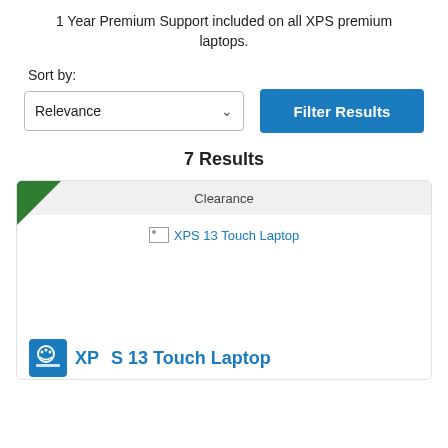1 Year Premium Support included on all XPS premium laptops.
Sort by:
Relevance
Filter Results
7 Results
[Figure (screenshot): Product listing card with Clearance banner, broken product image placeholder for XPS 13 Touch Laptop, and product title link with blue icon]
XPS 13 Touch Laptop